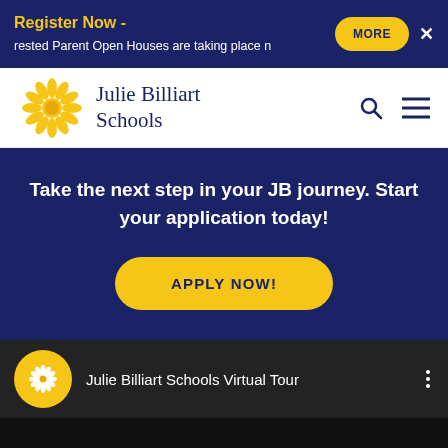Register Now - rested Parent Open Houses are taking place n
[Figure (logo): Julie Billiart Schools logo with sunflower emblem]
Take the next step in your JB journey. Start your application today!
APPLY NOW!
Julie Billiart Schools Virtual Tour